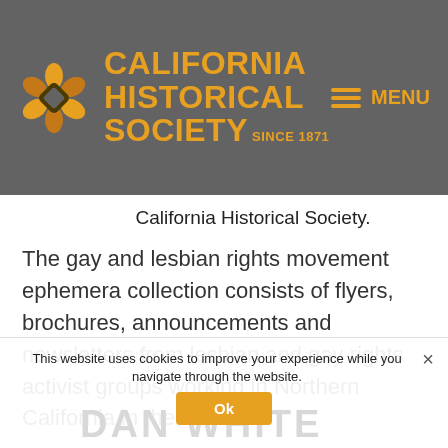[Figure (logo): California Historical Society logo with golden flower/gear shaped emblem and organization name in yellow on gray background, with hamburger MENU icon on the right]
California Historical Society.
The gay and lesbian rights movement ephemera collection consists of flyers, brochures, announcements and newsletters from lesbian and gay rights activist groups working in Northern California in the 1970s.
This website uses cookies to improve your experience while you navigate through the website.